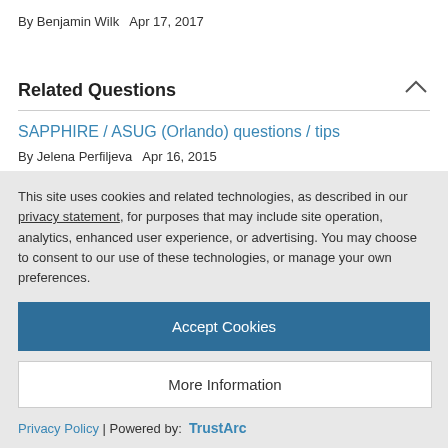By Benjamin Wilk   Apr 17, 2017
Related Questions
SAPPHIRE / ASUG (Orlando) questions / tips
By Jelena Perfiljeva   Apr 16, 2015
The Third Annual "Want a Free Water Bottle" offer - ASUG2010 /
This site uses cookies and related technologies, as described in our privacy statement, for purposes that may include site operation, analytics, enhanced user experience, or advertising. You may choose to consent to our use of these technologies, or manage your own preferences.
Accept Cookies
More Information
Privacy Policy | Powered by: TrustArc